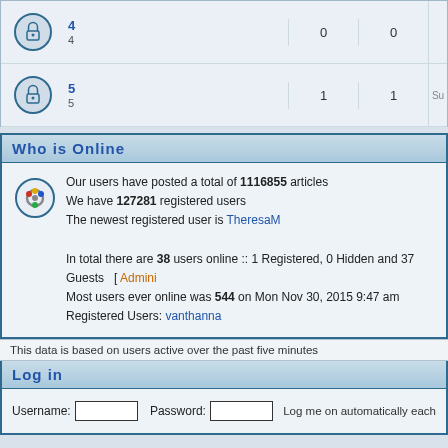| Icon | Forum | Posts | Topics | Last Post |
| --- | --- | --- | --- | --- |
| [lock icon] | 4
4 | 0 | 0 |  |
| [lock icon] | 5
5 | 1 | 1 | Su... |
Who is Online
Our users have posted a total of 1116855 articles
We have 127281 registered users
The newest registered user is TheresaM

In total there are 38 users online :: 1 Registered, 0 Hidden and 37 Guests  [ Admini...
Most users ever online was 544 on Mon Nov 30, 2015 9:47 am
Registered Users: vanthanna
This data is based on users active over the past five minutes
Log in
Username:  [input]  Password:  [input]  Log me on automatically each
New posts   No new posts   Forum is lo
Powered by phpBB © 2001, 2005 phpBB Group
100webspace web hosting VPS hosting advantages of online dating